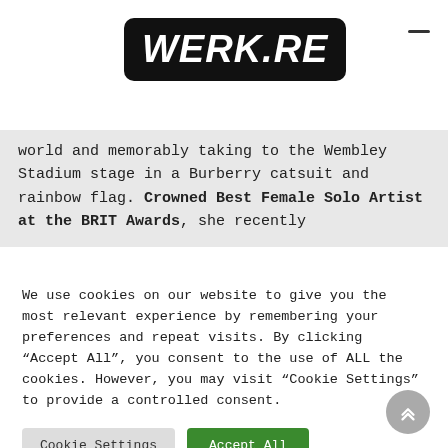[Figure (logo): WERK.RE logo in white bold italic text on black rounded rectangle background]
world and memorably taking to the Wembley Stadium stage in a Burberry catsuit and rainbow flag. Crowned Best Female Solo Artist at the BRIT Awards, she recently
We use cookies on our website to give you the most relevant experience by remembering your preferences and repeat visits. By clicking “Accept All”, you consent to the use of ALL the cookies. However, you may visit “Cookie Settings” to provide a controlled consent.